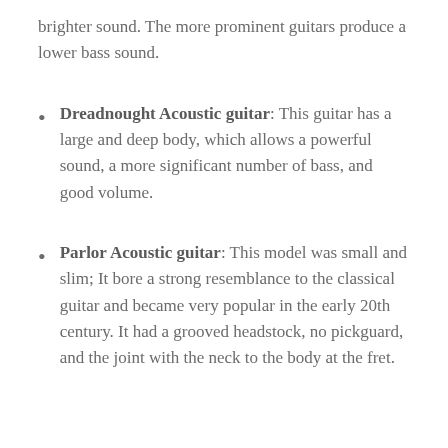brighter sound. The more prominent guitars produce a lower bass sound.
Dreadnought Acoustic guitar: This guitar has a large and deep body, which allows a powerful sound, a more significant number of bass, and good volume.
Parlor Acoustic guitar: This model was small and slim; It bore a strong resemblance to the classical guitar and became very popular in the early 20th century. It had a grooved headstock, no pickguard, and the joint with the neck to the body at the fret.